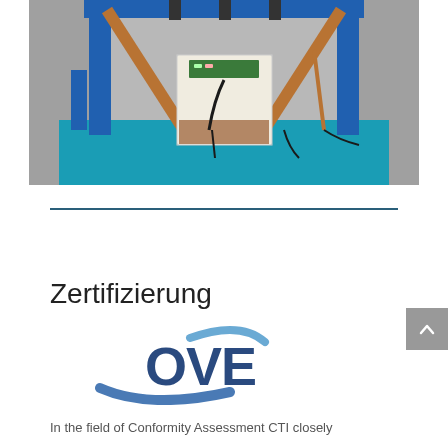[Figure (photo): Laboratory setup of a high-voltage testing apparatus with blue frame structure, copper-colored diagonal supports, and a white insulated box/component mounted in the center, with cables and electronic equipment visible on a blue base.]
Zertifizierung
[Figure (logo): OVE logo - blue text 'OVE' with swoosh arc beneath and curved stroke above, in dark navy and steel blue colors.]
In the field of Conformity Assessment CTI closely